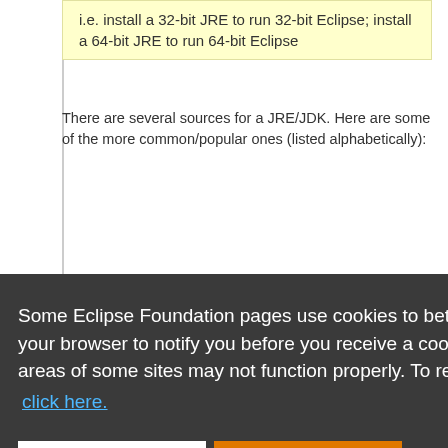i.e. install a 32-bit JRE to run 32-bit Eclipse; install a 64-bit JRE to run 64-bit Eclipse
There are several sources for a JRE/JDK. Here are some of the more common/popular ones (listed alphabetically):
Some Eclipse Foundation pages use cookies to better serve you when you return to the site. You can set your browser to notify you before you receive a cookie or turn off cookies. If you do so, however, some areas of some sites may not function properly. To read Eclipse Foundation Privacy Policy click here.
development tools via the "Help > Install New